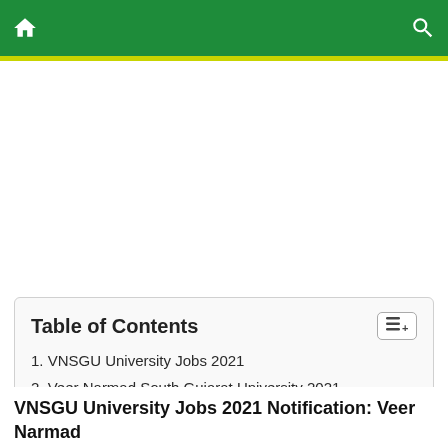| Table of Contents |
| --- |
| 1. VNSGU University Jobs 2021 |
| 2. Veer Narmad South Gujarat University 2021 Recruitment Details |
VNSGU University Jobs 2021 Notification: Veer Narmad